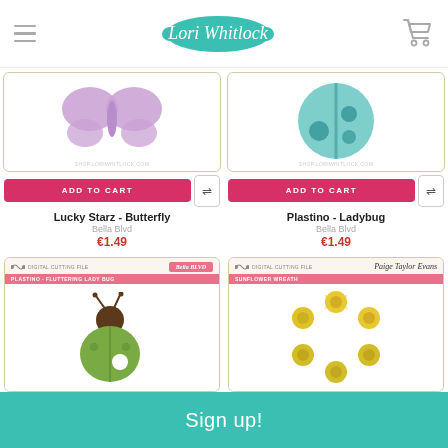Lori Whitlock
[Figure (illustration): Purple butterfly silhouette die cut illustration on cream card with 'ADD TO CART' button]
Lucky Starz - Butterfly
Bella Blvd
€1.49
[Figure (illustration): Teal ladybug circle die cut illustration on cream card with 'ADD TO CART' button]
Plastino - Ladybug
Bella Blvd
€1.49
[Figure (illustration): Green cartoon ladybug with antennae on cream product packaging card, Bella Blvd brand, label: PLASTINO - FLUTTERING LADY BUG]
[Figure (illustration): Yellow sunflower wreath arrangement on cream product packaging card, Paige Taylor Evans brand, label: SUNFLOWER WREATH]
Sign up!